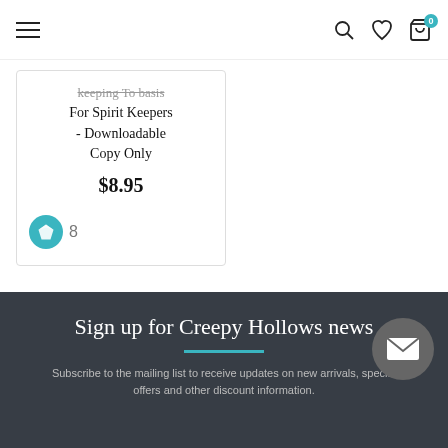Navigation header with hamburger menu, search, wishlist, and cart icons
Keeping To Basis For Spirit Keepers - Downloadable Copy Only
$8.95
8
Sign up for Creepy Hollows news
Subscribe to the mailing list to receive updates on new arrivals, special offers and other discount information.